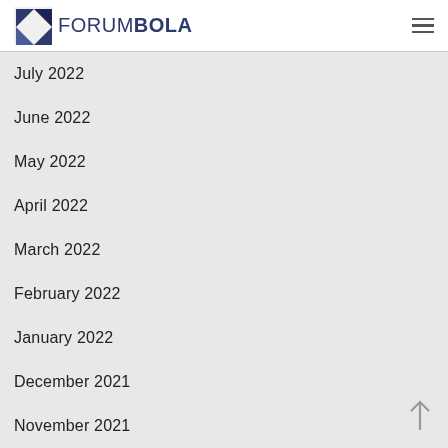FORUMBOLA
July 2022
June 2022
May 2022
April 2022
March 2022
February 2022
January 2022
December 2021
November 2021
October 2021